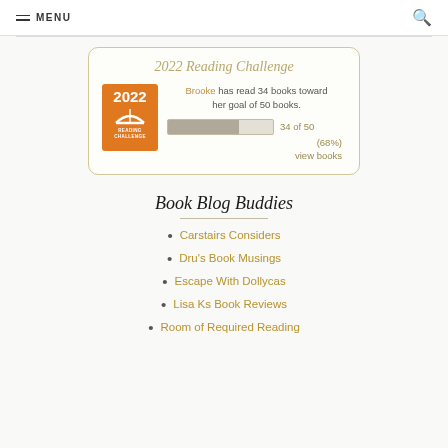MENU
2022 Reading Challenge
Brooke has read 34 books toward her goal of 50 books. 34 of 50 (68%) view books
Book Blog Buddies
Carstairs Considers
Dru's Book Musings
Escape With Dollycas
Lisa Ks Book Reviews
Room of Required Reading